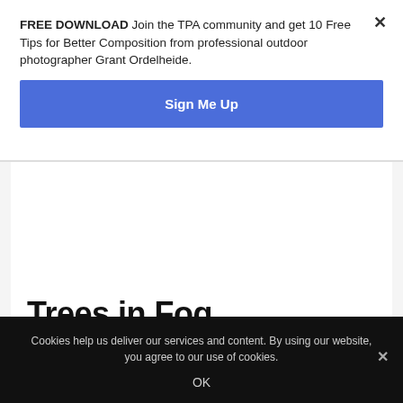FREE DOWNLOAD Join the TPA community and get 10 Free Tips for Better Composition from professional outdoor photographer Grant Ordelheide.
[Figure (other): Blue 'Sign Me Up' button for email signup]
Trees in Fog
Cookies help us deliver our services and content. By using our website, you agree to our use of cookies.
OK